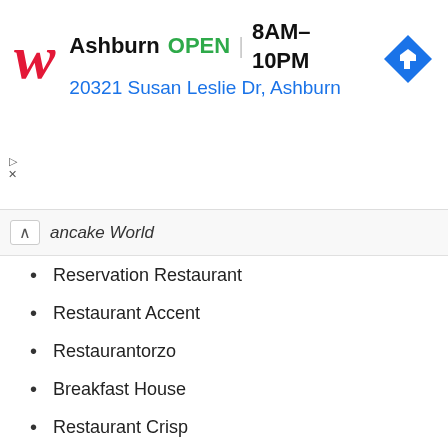[Figure (screenshot): Walgreens ad banner: red cursive W logo, text 'Ashburn OPEN 8AM-10PM' and address '20321 Susan Leslie Dr, Ashburn', blue navigation diamond icon]
ancake World
Reservation Restaurant
Restaurant Accent
Restaurantorzo
Breakfast House
Restaurant Crisp
Xin Chao Vietnamese Restaurant
Nine Seas
Greek Ambrosial
Slice Greek
Greek Magma
Tasty Time